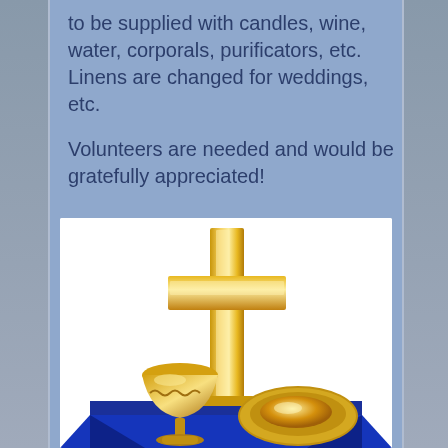to be supplied with candles, wine, water, corporals, purificators, etc. Linens are changed for weddings, etc.
Volunteers are needed and would be gratefully appreciated!
[Figure (illustration): Illustration of a golden Christian cross standing on a blue altar/table, with a golden chalice (goblet) on the left and a golden paten (plate) on the right, all against a white background.]